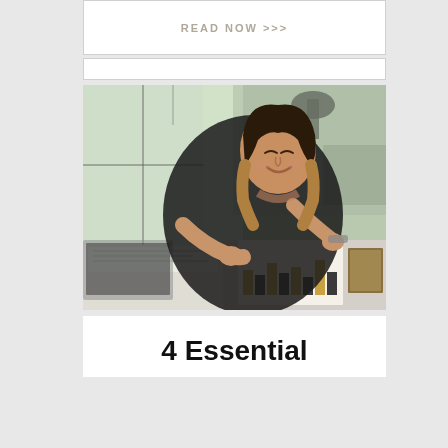READ NOW >>>
[Figure (photo): A woman in a black outfit sitting at a desk, smiling while reviewing financial charts and documents. She holds glasses in one hand and is pointing at papers with the other. A laptop and books are visible on the desk. The background shows a bright window with a cafe-like setting.]
4 Essential